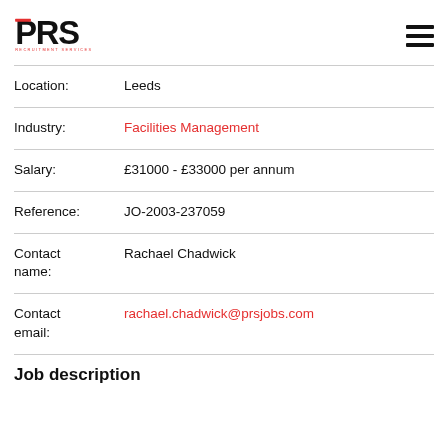PRS Recruitment Services
| Field | Value |
| --- | --- |
| Location: | Leeds |
| Industry: | Facilities Management |
| Salary: | £31000 - £33000 per annum |
| Reference: | JO-2003-237059 |
| Contact name: | Rachael Chadwick |
| Contact email: | rachael.chadwick@prsjobs.com |
Job description